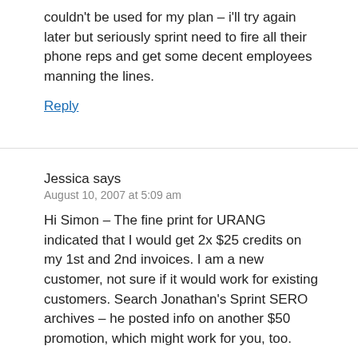couldn't be used for my plan – i'll try again later but seriously sprint need to fire all their phone reps and get some decent employees manning the lines.
Reply
Jessica says
August 10, 2007 at 5:09 am
Hi Simon – The fine print for URANG indicated that I would get 2x $25 credits on my 1st and 2nd invoices. I am a new customer, not sure if it would work for existing customers. Search Jonathan's Sprint SERO archives – he posted info on another $50 promotion, which might work for you, too.
I was happy to do most of the transaction